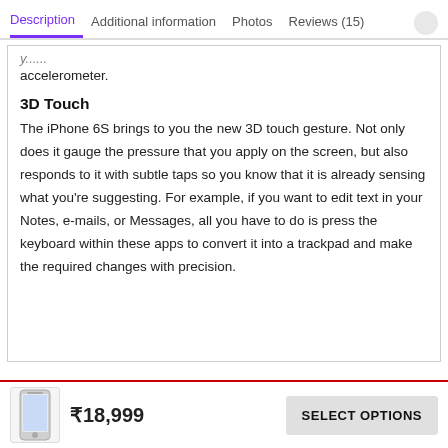Description | Additional information | Photos | Reviews (15)
accelerometer.
3D Touch
The iPhone 6S brings to you the new 3D touch gesture. Not only does it gauge the pressure that you apply on the screen, but also responds to it with subtle taps so you know that it is already sensing what you’re suggesting. For example, if you want to edit text in your Notes, e-mails, or Messages, all you have to do is press the keyboard within these apps to convert it into a trackpad and make the required changes with precision.
₹18,999
SELECT OPTIONS